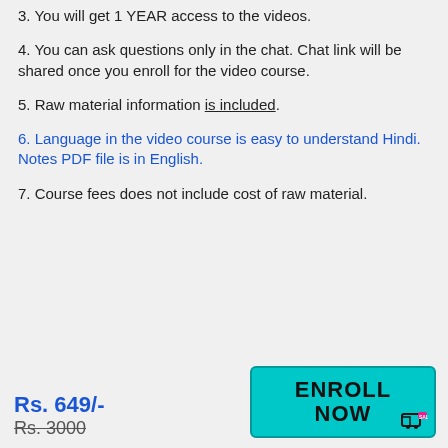3. You will get 1 YEAR access to the videos.
4. You can ask questions only in the chat. Chat link will be shared once you enroll for the video course.
5. Raw material information is included.
6. Language in the video course is easy to understand Hindi. Notes PDF file is in English.
7. Course fees does not include cost of raw material.
Rs. 649/-
Rs. 3000
[Figure (other): Enroll Now button in teal/cyan color with shopping cart icon]